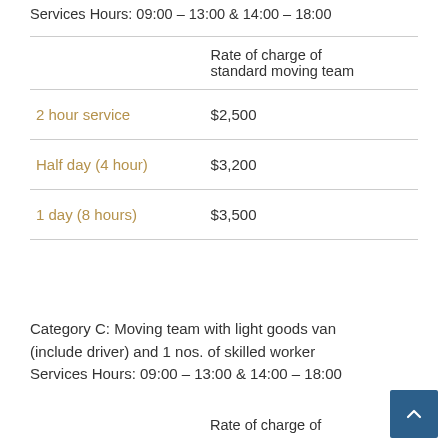Services Hours: 09:00 – 13:00 & 14:00 – 18:00
|  | Rate of charge of standard moving team |
| --- | --- |
| 2 hour service | $2,500 |
| Half day (4 hour) | $3,200 |
| 1 day (8 hours) | $3,500 |
Category C: Moving team with light goods van (include driver) and 1 nos. of skilled worker Services Hours: 09:00 – 13:00 & 14:00 – 18:00
Rate of charge of